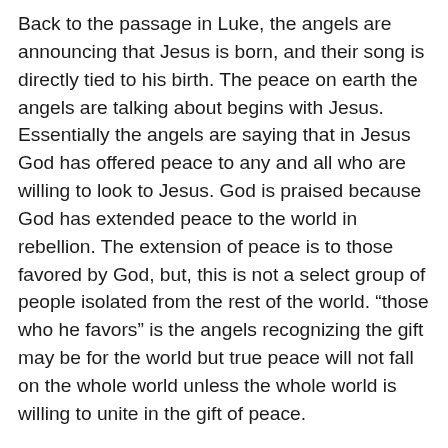Back to the passage in Luke, the angels are announcing that Jesus is born, and their song is directly tied to his birth. The peace on earth the angels are talking about begins with Jesus. Essentially the angels are saying that in Jesus God has offered peace to any and all who are willing to look to Jesus. God is praised because God has extended peace to the world in rebellion. The extension of peace is to those favored by God, but, this is not a select group of people isolated from the rest of the world. “those who he favors” is the angels recognizing the gift may be for the world but true peace will not fall on the whole world unless the whole world is willing to unite in the gift of peace.
Peace is a difficult and demanding goal; it requires me to look at the person who has wronged me with